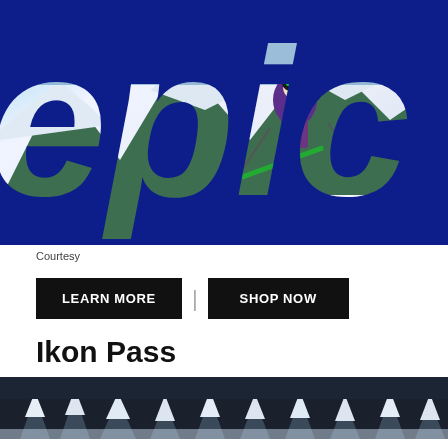[Figure (photo): Epic pass logo/banner image on dark navy blue background with large white 'epic' text letters, ski mountain scene visible through the letters, and a skier in purple jacket jumping through powder snow in the center]
Courtesy
[Figure (infographic): Two black call-to-action buttons: 'LEARN MORE' on the left and 'SHOP NOW' on the right, separated by a vertical divider bar]
Ikon Pass
[Figure (photo): Partial photo of snowy winter landscape with snow-covered trees, dark moody sky, black and white tones — Ikon Pass promotional image]